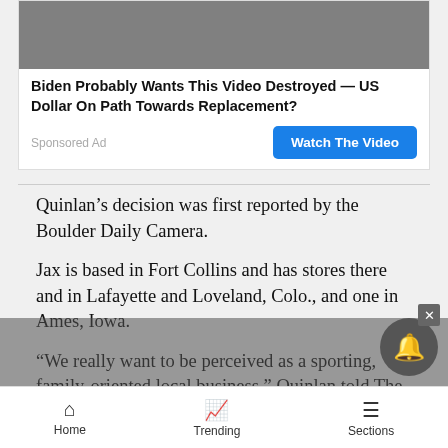[Figure (screenshot): Advertisement banner image (partially visible at top)]
Biden Probably Wants This Video Destroyed — US Dollar On Path Towards Replacement?
Sponsored Ad
Watch The Video
Quinlan's decision was first reported by the Boulder Daily Camera.
Jax is based in Fort Collins and has stores there and in Lafayette and Loveland, Colo., and one in Ames, Iowa.
“We really want to be perceived as a sporting, family-oriented local business.” Quinlan told The Associated Press. “It’s pretty much a moral and personal decision on my part.”
Home   Trending   Sections